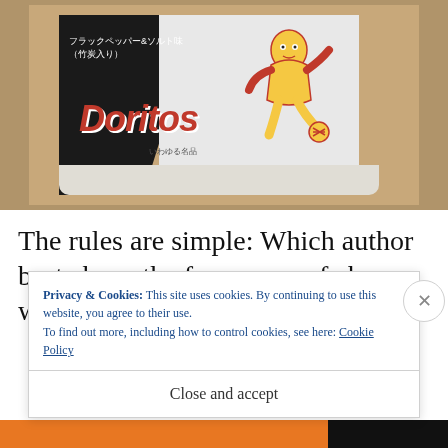[Figure (photo): Photograph of a Japanese Doritos bag (black pepper and salt flavor with charcoal) on a wooden surface. The bag features anime-style character illustration and Japanese text フラックペッパー&ソルト味 (竹炭入り). The Doritos logo is prominently displayed in red italic lettering.]
The rules are simple: Which author best chops the frozen sea of cheese with an ax skittering
Privacy & Cookies: This site uses cookies. By continuing to use this website, you agree to their use.
To find out more, including how to control cookies, see here: Cookie Policy
Close and accept